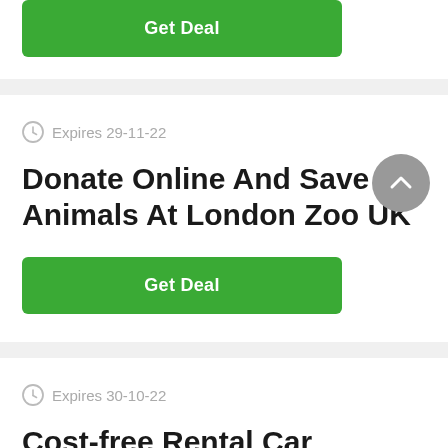[Figure (other): Green Get Deal button at top of page, partially visible]
Expires 29-11-22
Donate Online And Save Animals At London Zoo UK
[Figure (other): Green Get Deal button]
Expires 30-10-22
Cost-free Rental Car